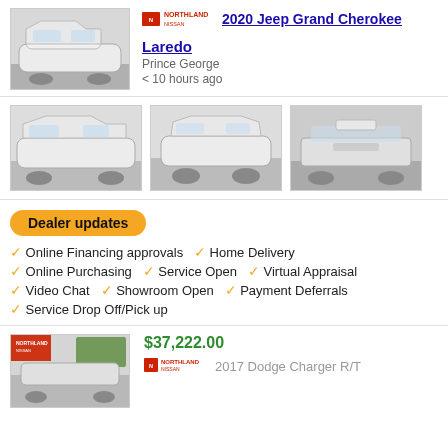[Figure (photo): White 2020 Jeep Grand Cherokee front view thumbnail]
[Figure (logo): Northland Nissan dealer logo]
2020 Jeep Grand Cherokee
Laredo
Prince George
< 10 hours ago
[Figure (photo): White 2020 Jeep Grand Cherokee side view]
[Figure (photo): White 2020 Jeep Grand Cherokee rear quarter view]
[Figure (photo): White 2020 Jeep Grand Cherokee rear view]
Dealer updates
Online Financing approvals   Home Delivery
Online Purchasing   Service Open   Virtual Appraisal
Video Chat   Showroom Open   Payment Deferrals
Service Drop Off/Pick up
[Figure (photo): Northland Nissan card thumbnail for 2017 Dodge Charger R/T]
$37,222.00
[Figure (logo): Northland Nissan dealer logo]
2017 Dodge Charger R/T